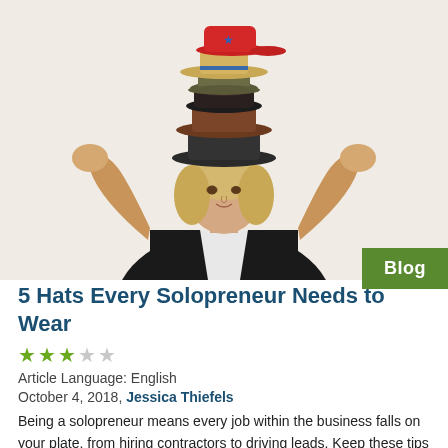[Figure (photo): Woman with blonde hair wearing a black blazer, with multiple stacked hats on her head (including a red baseball cap, straw hat, military cap, fur hat, brown fedora, and dark hat), raising both hands with palms up against a light beige background.]
Blog
5 Hats Every Solopreneur Needs to Wear
★★★☆☆
Article Language: English
October 4, 2018, Jessica Thiefels
Being a solopreneur means every job within the business falls on your plate, from hiring contractors to driving leads. Keep these tips in mind to help you succeed.